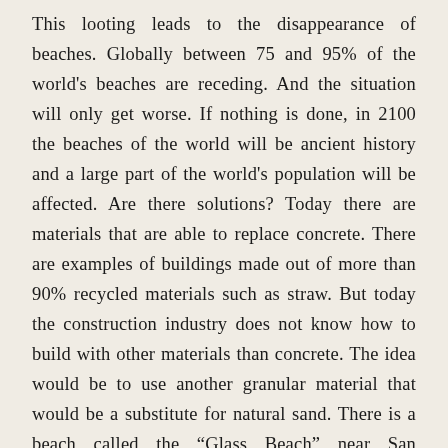This looting leads to the disappearance of beaches. Globally between 75 and 95% of the world's beaches are receding. And the situation will only get worse. If nothing is done, in 2100 the beaches of the world will be ancient history and a large part of the world's population will be affected. Are there solutions? Today there are materials that are able to replace concrete. There are examples of buildings made out of more than 90% recycled materials such as straw. But today the construction industry does not know how to build with other materials than concrete. The idea would be to use another granular material that would be a substitute for natural sand. There is a beach called the “Glass Beach” near San Francisco. At this place, for years, the city was getting rid of all its garbage on this beach. Gradually, the glass broke into small pieces that were polished by the waves. Nature itself has produced sand from used and broken bottles. Not only does it look like sand but it also has the same